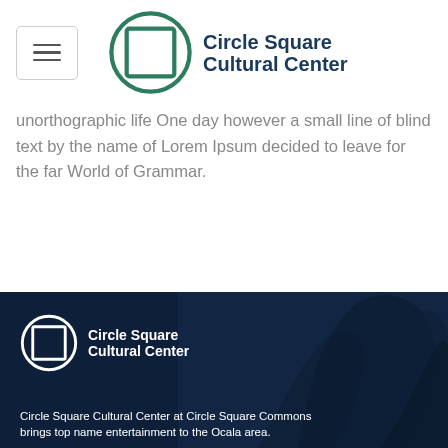[Figure (logo): Circle Square Cultural Center logo with green circular icon and dark blue text, top navigation bar with hamburger menu button]
unorthographic life One day however a small line of blind text by the name of Lorem Ipsum decided to leave for the far World of Grammar.
[Figure (logo): Circle Square Cultural Center white logo on dark navy background with tree silhouette overlay]
Circle Square Cultural Center at Circle Square Commons brings top name entertainment to the Ocala area.